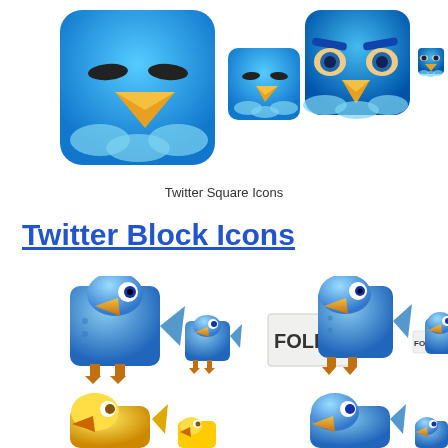[Figure (illustration): Twitter Square Icons: four square icons showing twitter bird faces with rounded corners in various sizes. Left side shows happy-eyed bird (large and small), right side shows stern-eyed bird (large and small).]
Twitter Square Icons
Twitter Block Icons
[Figure (illustration): Twitter Block Icons: 3D block-style twitter bird icons in various sizes and colors. First row: plain blue bird (large and small), blue bird holding FOLLOW sign (large and small). Second row (partial): yellow/orange bird and blue bird partially visible at bottom.]